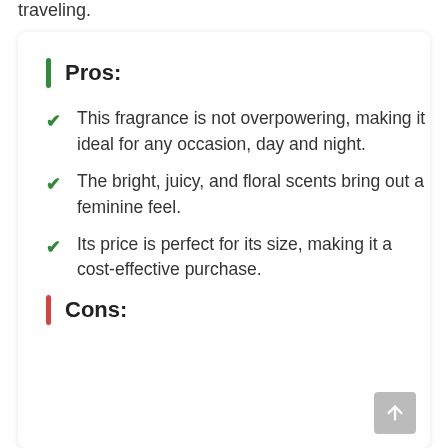traveling.
Pros:
This fragrance is not overpowering, making it ideal for any occasion, day and night.
The bright, juicy, and floral scents bring out a feminine feel.
Its price is perfect for its size, making it a cost-effective purchase.
Cons: